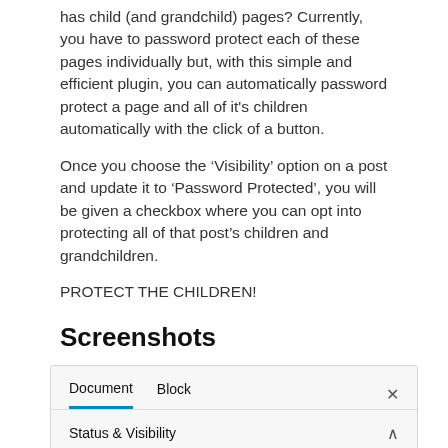has child (and grandchild) pages? Currently, you have to password protect each of these pages individually but, with this simple and efficient plugin, you can automatically password protect a page and all of it's children automatically with the click of a button.
Once you choose the 'Visibility' option on a post and update it to 'Password Protected', you will be given a checkbox where you can opt into protecting all of that post's children and grandchildren.
PROTECT THE CHILDREN!
Screenshots
[Figure (screenshot): A WordPress block editor sidebar panel showing tabs 'Document' and 'Block' with an X close button, the Document tab is underlined in blue, and below a 'Status & Visibility' section header with a chevron up icon.]